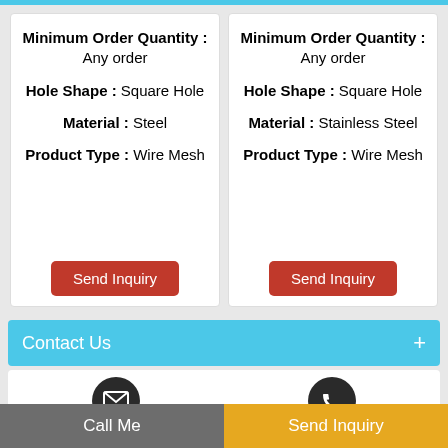Minimum Order Quantity : Any order
Hole Shape : Square Hole
Material : Steel
Product Type : Wire Mesh
Minimum Order Quantity : Any order
Hole Shape : Square Hole
Material : Stainless Steel
Product Type : Wire Mesh
Contact Us
[Figure (infographic): Email icon in dark circle and phone icon in dark circle, above Call Me and Send Inquiry buttons]
Call Me
Send Inquiry